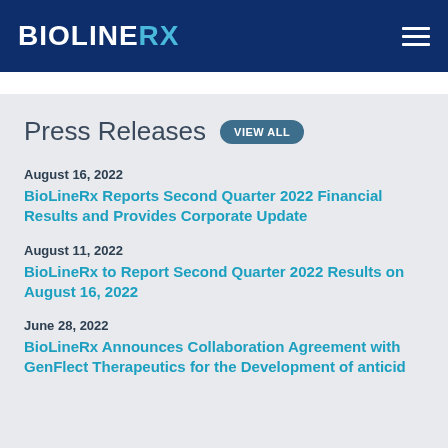BioLineRx
Press Releases VIEW ALL
August 16, 2022
BioLineRx Reports Second Quarter 2022 Financial Results and Provides Corporate Update
August 11, 2022
BioLineRx to Report Second Quarter 2022 Results on August 16, 2022
June 28, 2022
BioLineRx Announces Collaboration Agreement with GenFlect Therapeutics for the Development of anticid...